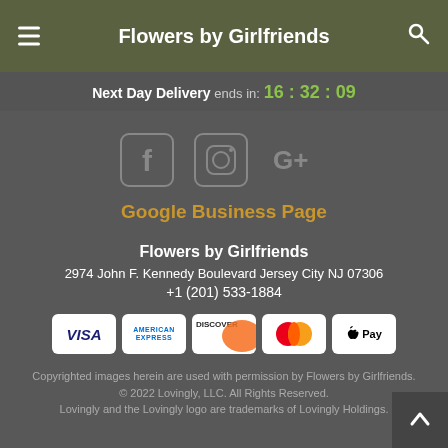Flowers by Girlfriends
Next Day Delivery ends in: 16 : 32 : 09
[Figure (other): Social media icons: Facebook, Instagram, Google+]
Google Business Page
Flowers by Girlfriends
2974 John F. Kennedy Boulevard Jersey City NJ 07306
+1 (201) 533-1884
[Figure (other): Payment method logos: VISA, American Express, Discover, Mastercard, Apple Pay]
Copyrighted images herein are used with permission by Flowers by Girlfriends.
© 2022 Lovingly, LLC. All Rights Reserved.
Lovingly and the Lovingly logo are trademarks of Lovingly Holdings.